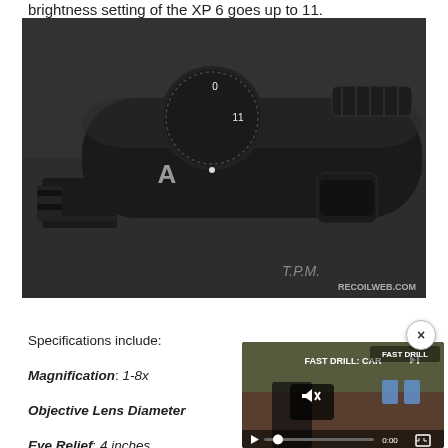brightness setting of the XP 6 goes up to 11.
[Figure (photo): Close-up photo of a black rifle scope showing adjustment turrets and dials, with 'T.P.M.' text and 'RECOILWEB.COM' watermark visible.]
Specifications include:
Magnification: 1-8x
Objective Lens Diameter
Eye Relief: 4 inches
[Figure (screenshot): Video player overlay showing 'FAST DRILL: CAR...' video thumbnail with play button, mute icon, and 0:00 timestamp. A close (x) button appears in top right corner.]